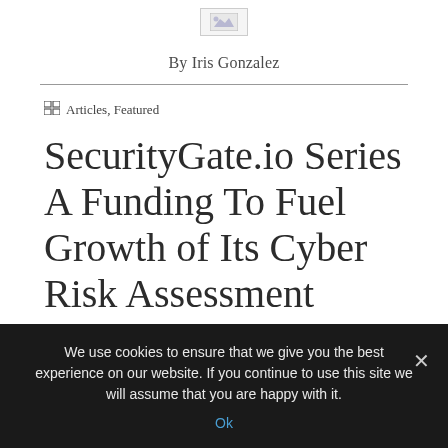[Figure (logo): Small logo image placeholder at top center]
By Iris Gonzalez
Articles, Featured
SecurityGate.io Series A Funding To Fuel Growth of Its Cyber Risk Assessment Platform
We use cookies to ensure that we give you the best experience on our website. If you continue to use this site we will assume that you are happy with it.